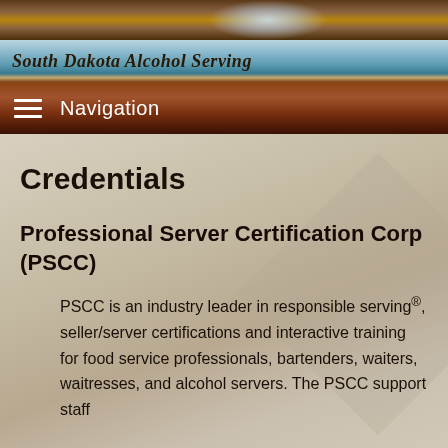South Dakota Alcohol Serving
Navigation
Credentials
Professional Server Certification Corp (PSCC)
PSCC is an industry leader in responsible serving®, seller/server certifications and interactive training for food service professionals, bartenders, waiters, waitresses, and alcohol servers. The PSCC support staff